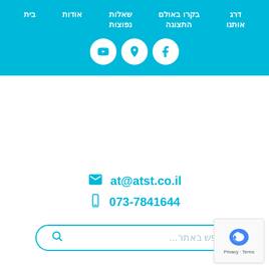בית | אודות | שאלות נפוצות | בקרו באולם התצוגה | דרג אותנו
[Figure (infographic): Three white circular social media icons on a cyan background: Facebook, Google Maps pin, and YouTube]
at@atst.co.il
073-7841644
חפש באתר...